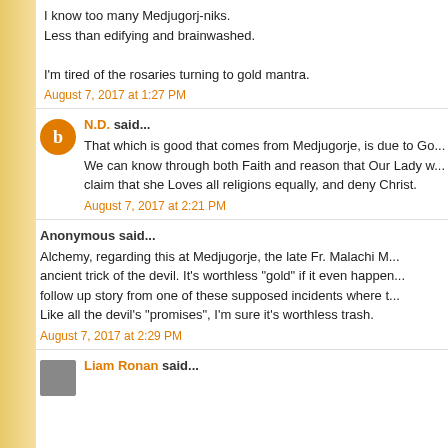I know too many Medjugorj-niks.
Less than edifying and brainwashed.

I'm tired of the rosaries turning to gold mantra.
August 7, 2017 at 1:27 PM
N.D. said...
That which is good that comes from Medjugorje, is due to Go... We can know through both Faith and reason that Our Lady w... claim that she Loves all religions equally, and deny Christ.
August 7, 2017 at 2:21 PM
Anonymous said...
Alchemy, regarding this at Medjugorje, the late Fr. Malachi M... ancient trick of the devil. It's worthless "gold" if it even happen... follow up story from one of these supposed incidents where t... Like all the devil's "promises", I'm sure it's worthless trash.
August 7, 2017 at 2:29 PM
Liam Ronan said...